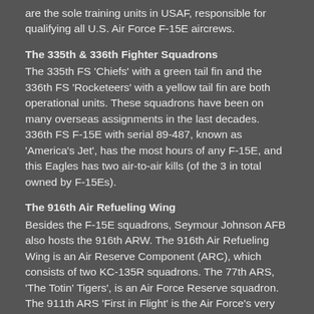are the sole training units in USAF, responsible for qualifying all U.S. Air Force F-15E aircrews.
The 335th & 336th Fighter Squadrons
The 335th FS 'Chiefs' with a green tail fin and the 336th FS 'Rocketeers' with a yellow tail fin are both operational units. These squadrons have been on many overseas assignments in the last decades. 336th FS F-15E with serial 89-487, known as 'America's Jet', has the most hours of any F-15E, and this Eagles has two air-to-air kills (of the 3 in total owned by F-15Es).
The 916th Air Refueling Wing
Besides the F-15E squadrons, Seymour Johnson AFB also hosts the 916th ARW. The 916th Air Refueling Wing is an Air Reserve Component (ARC), which consists of two KC-135R squadrons. The 77th ARS, 'The Totin' Tigers', is an Air Force Reserve squadron. The 911th ARS 'First in Flight' is the Air Force's very first active duty squadron that is under the command of a Reserve wing. The 916th ARW will start replacing its KC-135Rs for 12 KC-46As in 2020.